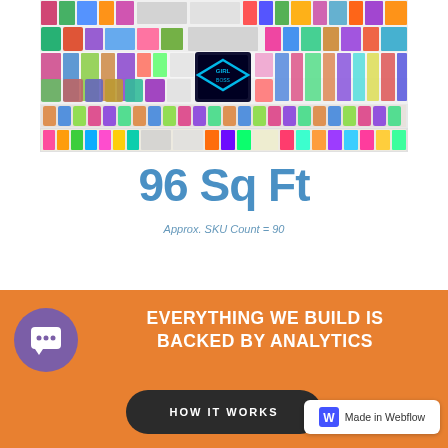[Figure (photo): A collage/mosaic of colorful retail products including toys, novelties, and merchandise items arranged in a grid display, showing approximately 90 SKUs.]
96 Sq Ft
Approx. SKU Count = 90
EVERYTHING WE BUILD IS BACKED BY ANALYTICS
HOW IT WORKS